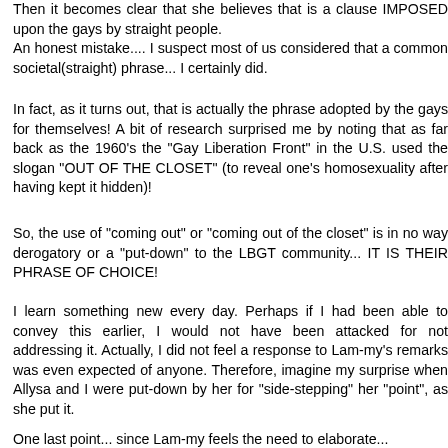Then it becomes clear that she believes that is a clause IMPOSED upon the gays by straight people. An honest mistake.... I suspect most of us considered that a common societal(straight) phrase... I certainly did.
In fact, as it turns out, that is actually the phrase adopted by the gays for themselves! A bit of research surprised me by noting that as far back as the 1960's the "Gay Liberation Front" in the U.S. used the slogan "OUT OF THE CLOSET" (to reveal one's homosexuality after having kept it hidden)!
So, the use of "coming out" or "coming out of the closet" is in no way derogatory or a "put-down" to the LBGT community... IT IS THEIR PHRASE OF CHOICE!
I learn something new every day. Perhaps if I had been able to convey this earlier, I would not have been attacked for not addressing it. Actually, I did not feel a response to Lam-my's remarks was even expected of anyone. Therefore, imagine my surprise when Allysa and I were put-down by her for "side-stepping" her "point", as she put it.
One last point... since Lam-my feels the need to elaborate...